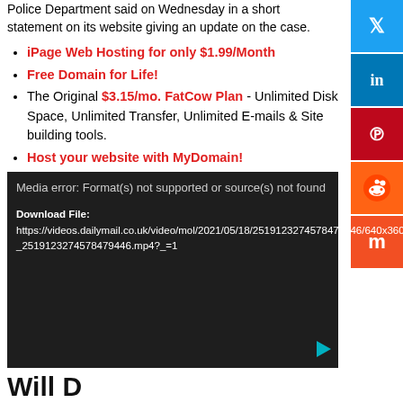Police Department said on Wednesday in a short statement on its website giving an update on the case.
iPage Web Hosting for only $1.99/Month
Free Domain for Life!
The Original $3.15/mo. FatCow Plan - Unlimited Disk Space, Unlimited Transfer, Unlimited E-mails & Site building tools.
Host your website with MyDomain!
[Figure (screenshot): Media player error screen showing 'Media error: Format(s) not supported or source(s) not found' with a download file link to a dailymail video URL and a teal play button]
Will Dominique Broussard